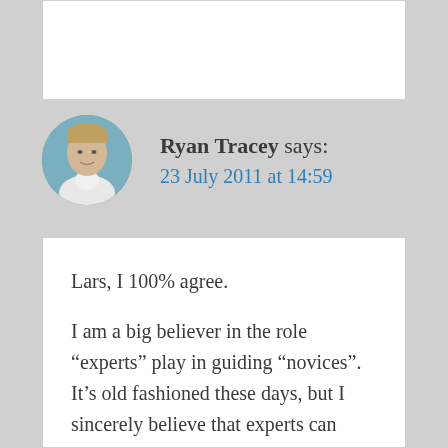[Figure (photo): Circular avatar photo of Ryan Tracey, a man in a light shirt against a teal/blue background]
Ryan Tracey says:
23 July 2011 at 14:59
Lars, I 100% agree.

I am a big believer in the role “experts” play in guiding “novices”. It’s old fashioned these days, but I sincerely believe that experts can provide an overarching cognitive framework for novices, raising their